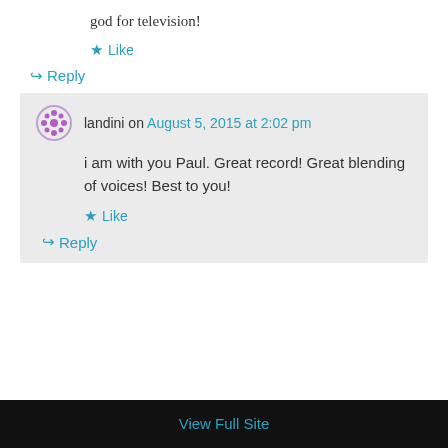god for television!
★ Like
↪ Reply
landini on August 5, 2015 at 2:02 pm
i am with you Paul. Great record! Great blending of voices! Best to you!
★ Like
↪ Reply
View Full Site